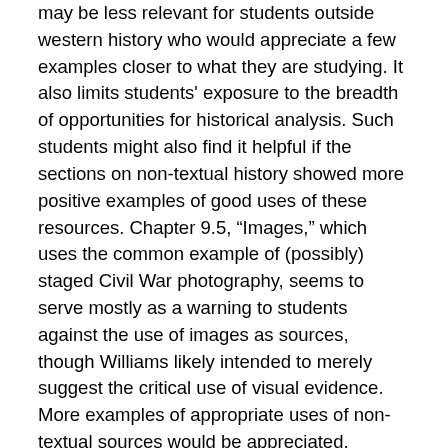may be less relevant for students outside western history who would appreciate a few examples closer to what they are studying. It also limits students' exposure to the breadth of opportunities for historical analysis. Such students might also find it helpful if the sections on non-textual history showed more positive examples of good uses of these resources. Chapter 9.5, “Images,” which uses the common example of (possibly) staged Civil War photography, seems to serve mostly as a warning to students against the use of images as sources, though Williams likely intended to merely suggest the critical use of visual evidence. More examples of appropriate uses of non-textual sources would be appreciated, especially for instructors using this work in courses outside of history departments or covering fields in which written documentation is limited.
A final concern with Part II is simply a consideration of the